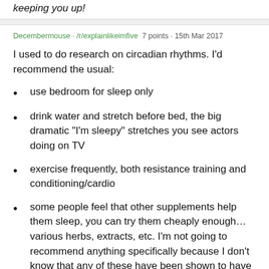keeping you up!
Decembermouse · /r/explainlikeimfive  7 points · 15th Mar 2017
I used to do research on circadian rhythms. I'd recommend the usual:
use bedroom for sleep only
drink water and stretch before bed, the big dramatic "I'm sleepy" stretches you see actors doing on TV
exercise frequently, both resistance training and conditioning/cardio
some people feel that other supplements help them sleep, you can try them cheaply enough… various herbs, extracts, etc. I'm not going to recommend anything specifically because I don't know that any of these have been shown to have a beneficial effect on